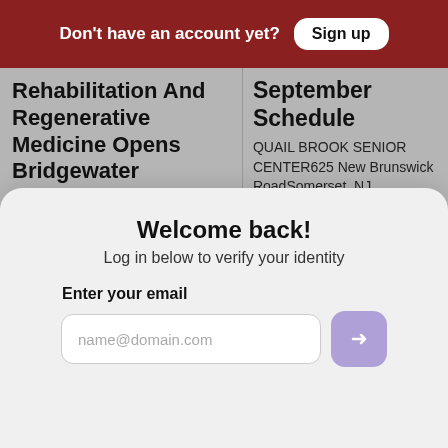Don't have an account yet? Sign up
Rehabilitation And Regenerative Medicine Opens Bridgewater Location
Rey Bolic of
September Schedule
QUAIL BROOK SENIOR CENTER625 New Brunswick RoadSomerset, NJ 08873732-564213Stretching with Allison – Mondays, 10 a.m. Start...
Close
Welcome back!
Log in below to verify your identity
Enter your email
name@domain.com